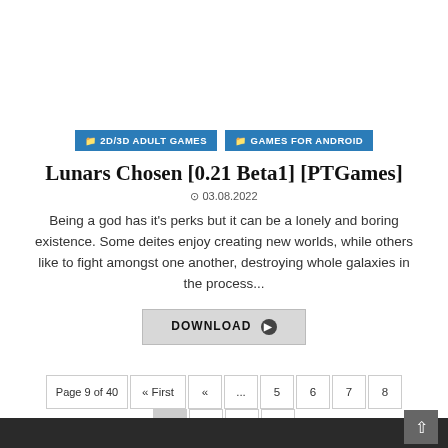2D/3D ADULT GAMES | GAMES FOR ANDROID
Lunars Chosen [0.21 Beta1] [PTGames]
03.08.2022
Being a god has it's perks but it can be a lonely and boring existence. Some deites enjoy creating new worlds, while others like to fight amongst one another, destroying whole galaxies in the process...
DOWNLOAD
Page 9 of 40  « First  «  ...  5  6  7  8  9  10  11  12  13  14  ...  20  30  40  ...  »  Last »